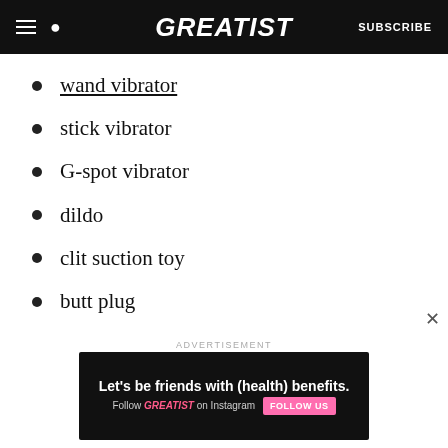GREATIST | SUBSCRIBE
wand vibrator
stick vibrator
G-spot vibrator
dildo
clit suction toy
butt plug
anal beads
Ben Wa balls
ADVERTISEMENT
Let's be friends with (health) benefits. Follow GREATIST on Instagram. FOLLOW US